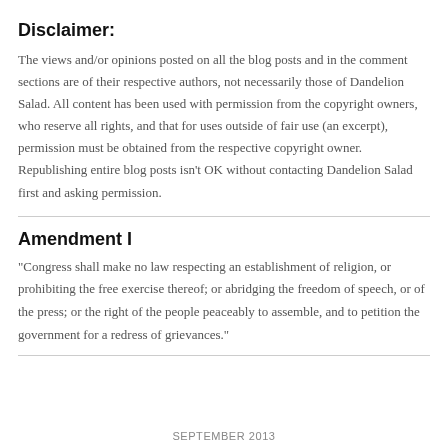Disclaimer:
The views and/or opinions posted on all the blog posts and in the comment sections are of their respective authors, not necessarily those of Dandelion Salad. All content has been used with permission from the copyright owners, who reserve all rights, and that for uses outside of fair use (an excerpt), permission must be obtained from the respective copyright owner. Republishing entire blog posts isn't OK without contacting Dandelion Salad first and asking permission.
Amendment I
"Congress shall make no law respecting an establishment of religion, or prohibiting the free exercise thereof; or abridging the freedom of speech, or of the press; or the right of the people peaceably to assemble, and to petition the government for a redress of grievances."
SEPTEMBER 2013